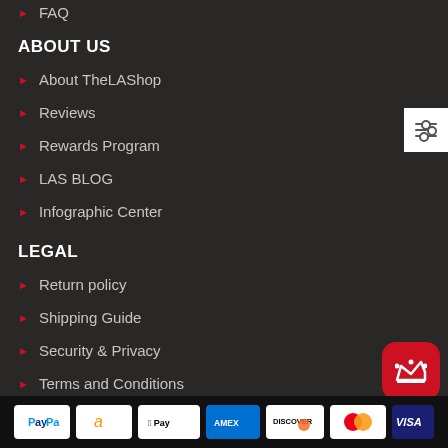FAQ
ABOUT US
About TheLAShop
Reviews
Rewards Program
LAS BLOG
Infographic Center
LEGAL
Return policy
Shipping Guide
Security & Privacy
Terms and Conditions
[Figure (other): Payment method logos: PayPal, Amazon, Apple Pay, American Express, Discover, Mastercard, Visa]